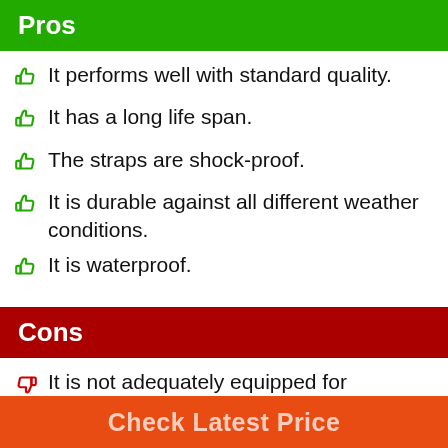Pros
It performs well with standard quality.
It has a long life span.
The straps are shock-proof.
It is durable against all different weather conditions.
It is waterproof.
Cons
It is not adequately equipped for professional activities.
It cannot handle smaller work.
It can tear apart.
Check Latest Price